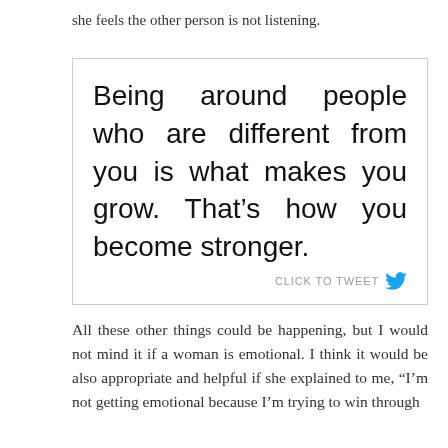she feels the other person is not listening.
[Figure (other): Quote box with text: Being around people who are different from you is what makes you grow. That's how you become stronger. CLICK TO TWEET with Twitter bird icon]
All these other things could be happening, but I would not mind it if a woman is emotional. I think it would be also appropriate and helpful if she explained to me, “I’m not getting emotional because I’m trying to win through